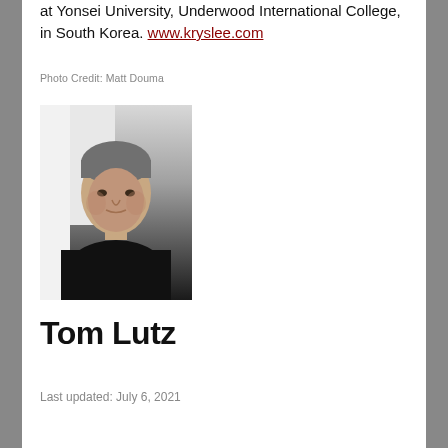at Yonsei University, Underwood International College, in South Korea. www.kryslee.com
Photo Credit: Matt Douma
[Figure (photo): Black and white portrait photograph of a man with gray hair wearing a dark jacket, looking directly at the camera.]
Tom Lutz
Last updated: July 6, 2021